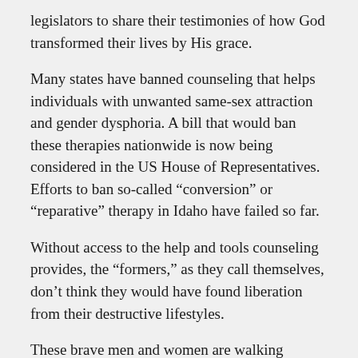legislators to share their testimonies of how God transformed their lives by His grace.
Many states have banned counseling that helps individuals with unwanted same-sex attraction and gender dysphoria. A bill that would ban these therapies nationwide is now being considered in the US House of Representatives. Efforts to ban so-called “conversion” or “reparative” therapy in Idaho have failed so far.
Without access to the help and tools counseling provides, the “formers,” as they call themselves, don’t think they would have found liberation from their destructive lifestyles.
These brave men and women are walking monuments to the transforming power of God. “Do